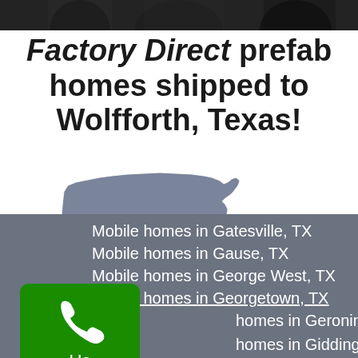[Figure (photo): Dark photo banner of people, used as a decorative header image]
Factory Direct prefab homes shipped to Wolfforth, Texas!
[Figure (map): Silhouette map of the United States in gray]
Mobile homes in Gatesville, TX
Mobile homes in Gause, TX
Mobile homes in George West, TX
Mobile homes in Georgetown, TX
homes in Geronimo, TX
homes in Giddings, TX
[Figure (illustration): Green phone/call button with phone icon and label 'Us']